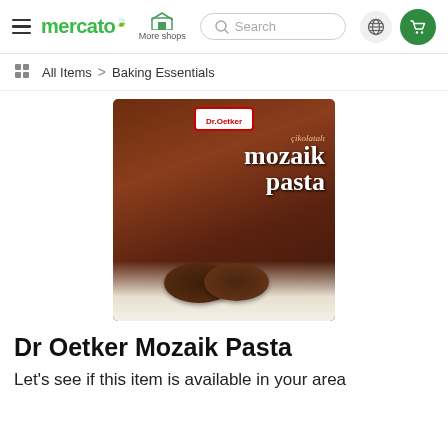mercato | More shops | Search | globe | cart
All Items > Baking Essentials
[Figure (photo): Dr. Oetker Çikolatalı Mozaik Pasta product box — dark brown box with heart-shaped chocolate mosaic cake slices on white cream, Dr.Oetker red logo at top]
Dr Oetker Mozaik Pasta
Let's see if this item is available in your area